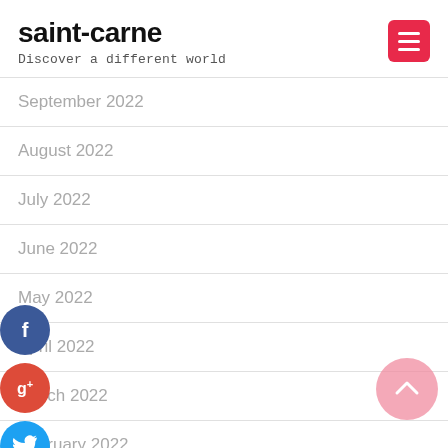saint-carne
Discover a different world
September 2022
August 2022
July 2022
June 2022
May 2022
April 2022
March 2022
February 2022
January 2022